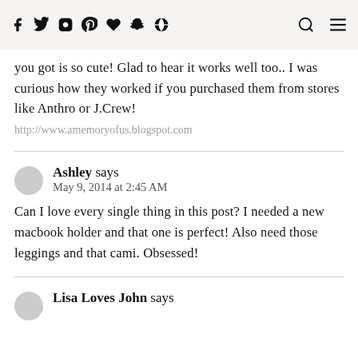[social media navigation icons: f, twitter, instagram, pinterest, heart, snapchat, safety + search icon + menu icon]
you got is so cute! Glad to hear it works well too.. I was curious how they worked if you purchased them from stores like Anthro or J.Crew!
http://www.amemoryofus.blogspot.com
Ashley says
May 9, 2014 at 2:45 AM
Can I love every single thing in this post? I needed a new macbook holder and that one is perfect! Also need those leggings and that cami. Obsessed!
Lisa Loves John says